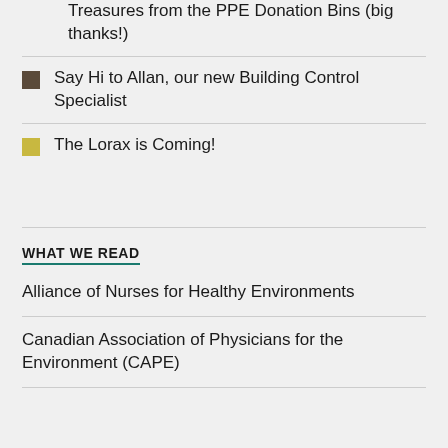Treasures from the PPE Donation Bins (big thanks!)
Say Hi to Allan, our new Building Control Specialist
The Lorax is Coming!
WHAT WE READ
Alliance of Nurses for Healthy Environments
Canadian Association of Physicians for the Environment (CAPE)